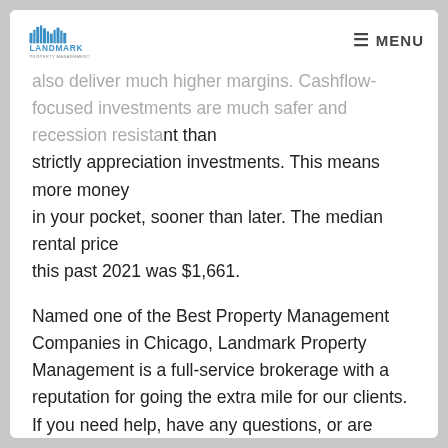Landmark Property Management — MENU
also deliver much higher margins. Cashflow-focused investments are much safer and recession resistant than strictly appreciation investments. This means more money in your pocket, sooner than later. The median rental price this past 2021 was $1,661.
Named one of the Best Property Management Companies in Chicago, Landmark Property Management is a full-service brokerage with a reputation for going the extra mile for our clients. If you need help, have any questions, or are interested in learning from the best property management company in Chicago, don't hesitate to reach out! You can contact us at Landmark Property Management via phone at 312-313-8553 or send us an email at office@landmarkrgc.com.